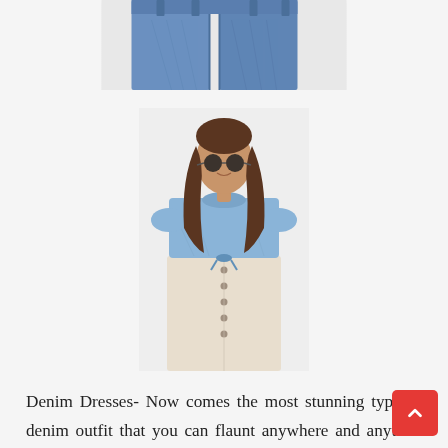[Figure (photo): Partial view of wide-leg blue denim jeans from waist down, cropped at the top]
[Figure (photo): Woman wearing a light blue denim cropped tie-front top with round sunglasses and a cream button-front midi skirt, brown hair]
Denim Dresses- Now comes the most stunning type of denim outfit that you can flaunt anywhere and anytime without any hesitation and that is a denim dress! A simple yet elegant